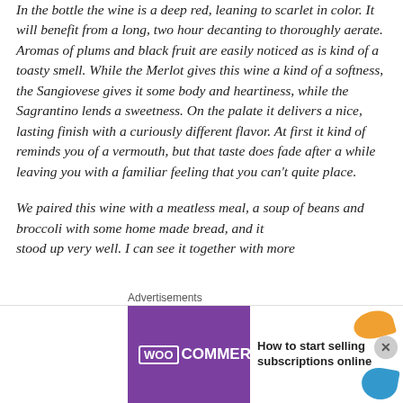In the bottle the wine is a deep red, leaning to scarlet in color. It will benefit from a long, two hour decanting to thoroughly aerate. Aromas of plums and black fruit are easily noticed as is kind of a toasty smell. While the Merlot gives this wine a kind of a softness, the Sangiovese gives it some body and heartiness, while the Sagrantino lends a sweetness. On the palate it delivers a nice, lasting finish with a curiously different flavor. At first it kind of reminds you of a vermouth, but that taste does fade after a while leaving you with a familiar feeling that you can't quite place.
We paired this wine with a meatless meal, a soup of beans and broccoli with some home made bread, and it stood up very well. I can see it together with more
Advertisements
[Figure (other): WooCommerce advertisement banner with purple background, teal arrow, and text 'How to start selling subscriptions online']